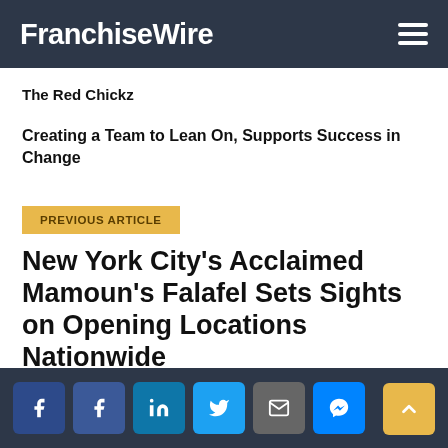FranchiseWire
The Red Chickz
Creating a Team to Lean On, Supports Success in Change
PREVIOUS ARTICLE
New York City's Acclaimed Mamoun's Falafel Sets Sights on Opening Locations Nationwide
Social share icons: Facebook, Facebook, LinkedIn, Twitter, Email, Messenger